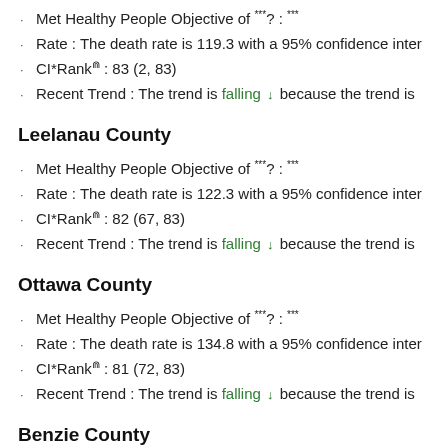Met Healthy People Objective of ***?: ***
Rate : The death rate is 119.3 with a 95% confidence inter
CI*Rank⋒ : 83 (2, 83)
Recent Trend : The trend is falling ↓ because the trend is
Leelanau County
Met Healthy People Objective of ***?: ***
Rate : The death rate is 122.3 with a 95% confidence inter
CI*Rank⋒ : 82 (67, 83)
Recent Trend : The trend is falling ↓ because the trend is
Ottawa County
Met Healthy People Objective of ***?: ***
Rate : The death rate is 134.8 with a 95% confidence inter
CI*Rank⋒ : 81 (72, 83)
Recent Trend : The trend is falling ↓ because the trend is
Benzie County